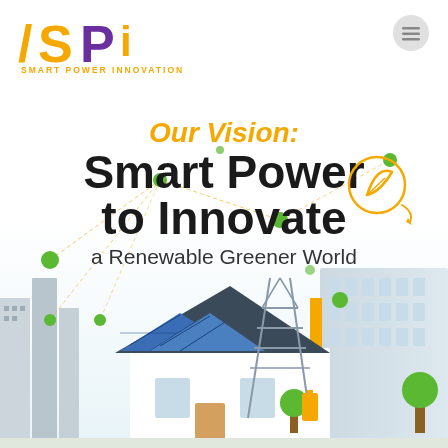[Figure (logo): SPI Smart Power Innovation logo with yellow S, purple P, yellow i letters and company name below]
[Figure (illustration): Infographic illustration of smart city with solar panels on house roof, electricity tower, buildings, trees, and network connection dots representing smart power grid]
Our Vision: Smart Power to Innovate a Renewable Greener World